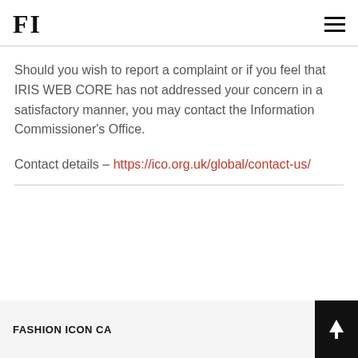FI
Should you wish to report a complaint or if you feel that IRIS WEB CORE has not addressed your concern in a satisfactory manner, you may contact the Information Commissioner's Office.
Contact details – https://ico.org.uk/global/contact-us/
FASHION ICON CA